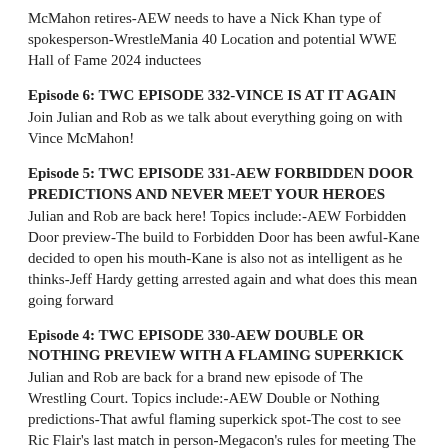McMahon retires-AEW needs to have a Nick Khan type of spokesperson-WrestleMania 40 Location and potential WWE Hall of Fame 2024 inductees
Episode 6: TWC EPISODE 332-VINCE IS AT IT AGAIN
Join Julian and Rob as we talk about everything going on with Vince McMahon!
Episode 5: TWC EPISODE 331-AEW FORBIDDEN DOOR PREDICTIONS AND NEVER MEET YOUR HEROES
Julian and Rob are back here! Topics include:-AEW Forbidden Door preview-The build to Forbidden Door has been awful-Kane decided to open his mouth-Kane is also not as intelligent as he thinks-Jeff Hardy getting arrested again and what does this mean going forward
Episode 4: TWC EPISODE 330-AEW DOUBLE OR NOTHING PREVIEW WITH A FLAMING SUPERKICK
Julian and Rob are back for a brand new episode of The Wrestling Court. Topics include:-AEW Double or Nothing predictions-That awful flaming superkick spot-The cost to see Ric Flair's last match in person-Megacon's rules for meeting The Undertaker-The great ending of last week's Smackdown
Episode 3: TWC EPISPDE 329-QUICK WRESTLEMANIA